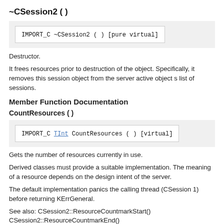~CSession2 ( )
[Figure (screenshot): Code box showing: IMPORT_C ~CSession2 ( ) [pure virtual]]
Destructor.
It frees resources prior to destruction of the object. Specifically, it removes this session object from the server active object s list of sessions.
Member Function Documentation
CountResources ( )
[Figure (screenshot): Code box showing: IMPORT_C TInt CountResources ( ) [virtual]]
Gets the number of resources currently in use.
Derived classes must provide a suitable implementation. The meaning of a resource depends on the design intent of the server.
The default implementation panics the calling thread (CSession 1) before returning KErrGeneral.
See also: CSession2::ResourceCountmarkStart()
CSession2::ResourceCountmarkEnd()
Returns: The current number of resources in use.